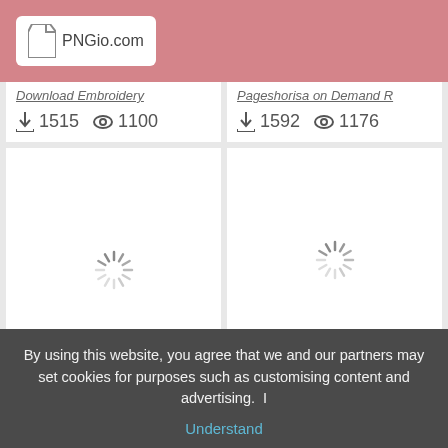PNGio.com
Download Embroidery
1515  1100
Pageshorisa on Demand R
1592  1176
[Figure (illustration): Loading spinner icon on white card background for lace | Tumblr]
lace | Tumblr
[Figure (illustration): Loading spinner icon on white card background for Lace, Vectors, PSD, and Clipart for Download | tree]
Lace , Vectors, PSD, and Clipart for Download | tree
1871  1354
1752  1334
By using this website, you agree that we and our partners may set cookies for purposes such as customising content and advertising.  I
Understand